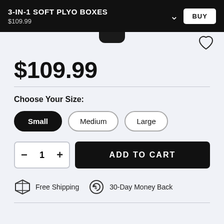3-IN-1 SOFT PLYO BOXES
$109.99
$109.99
Choose Your Size:
Small
Medium
Large
− 1 + ADD TO CART
Free Shipping
30-Day Money Back